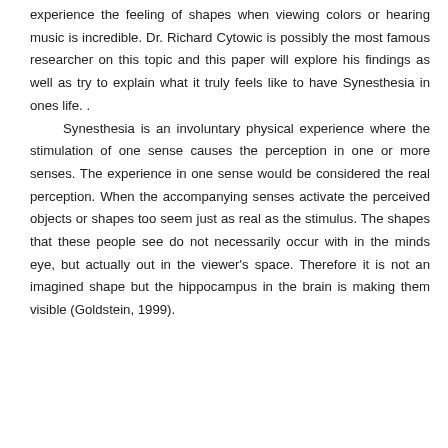experience the feeling of shapes when viewing colors or hearing music is incredible. Dr. Richard Cytowic is possibly the most famous researcher on this topic and this paper will explore his findings as well as try to explain what it truly feels like to have Synesthesia in ones life. . Synesthesia is an involuntary physical experience where the stimulation of one sense causes the perception in one or more senses. The experience in one sense would be considered the real perception. When the accompanying senses activate the perceived objects or shapes too seem just as real as the stimulus. The shapes that these people see do not necessarily occur with in the minds eye, but actually out in the viewer's space. Therefore it is not an imagined shape but the hippocampus in the brain is making them visible (Goldstein, 1999).